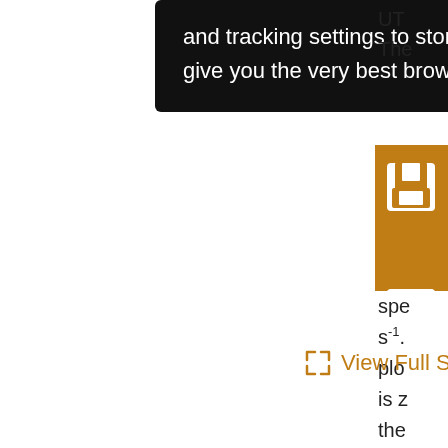and tracking settings to store information that help give you the very best browsing experience.
UT
The
[Figure (screenshot): Orange sidebar panel with action icons: save (floppy disk), email (envelope), cite (quotation marks), alert/notification with strike-through, and share icons on an orange background]
spe
s⁻¹.
plo
is z
the
View Full Size